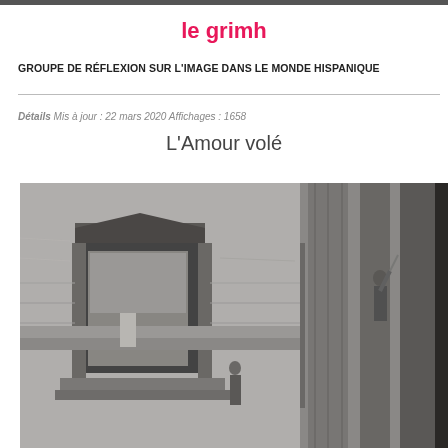le grimh
GROUPE DE RÉFLEXION SUR L'IMAGE DANS LE MONDE HISPANIQUE
Détails  Mis à jour : 22 mars 2020  Affichages : 1658
L'Amour volé
[Figure (photo): Black and white still from a film showing a classical architectural setting with arches, columns, and a figure in classical dress holding objects aloft, with stone buildings in the background.]